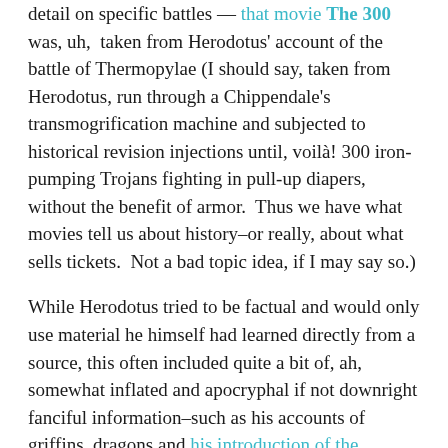detail on specific battles — that movie The 300 was, uh, taken from Herodotus' account of the battle of Thermopylae (I should say, taken from Herodotus, run through a Chippendale's transmogrification machine and subjected to historical revision injections until, voilà! 300 iron-pumping Trojans fighting in pull-up diapers, without the benefit of armor.  Thus we have what movies tell us about history–or really, about what sells tickets.  Not a bad topic idea, if I may say so.)
While Herodotus tried to be factual and would only use material he himself had learned directly from a source, this often included quite a bit of, ah, somewhat inflated and apocryphal if not downright fanciful information–such as his accounts of griffins, dragons and his introduction of the phoenix to the western world (I wonder how many of